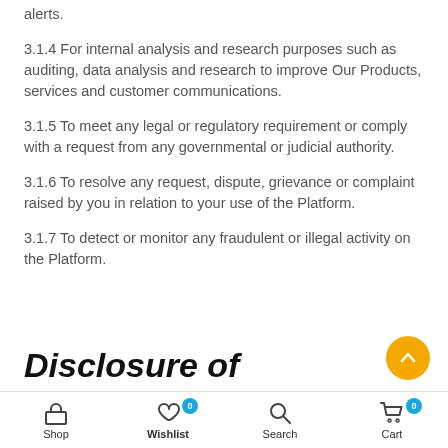alerts.
3.1.4 For internal analysis and research purposes such as auditing, data analysis and research to improve Our Products, services and customer communications.
3.1.5 To meet any legal or regulatory requirement or comply with a request from any governmental or judicial authority.
3.1.6 To resolve any request, dispute, grievance or complaint raised by you in relation to your use of the Platform.
3.1.7 To detect or monitor any fraudulent or illegal activity on the Platform.
Disclosure of
Shop  Wishlist 0  Search  Cart 0